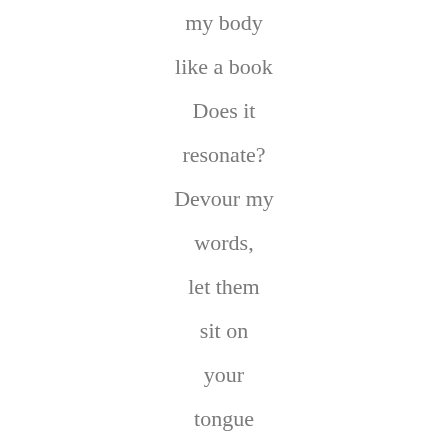my body
like a book
Does it
resonate?
Devour my
words,
let them
sit on
your
tongue